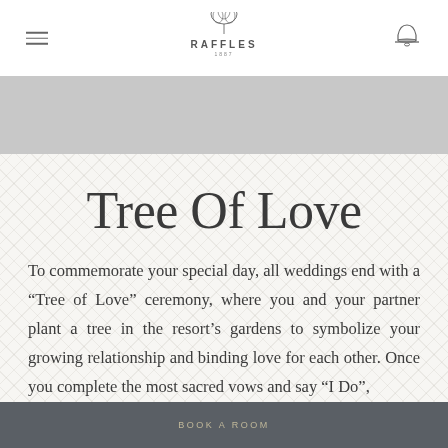RAFFLES
Tree Of Love
To commemorate your special day, all weddings end with a “Tree of Love” ceremony, where you and your partner plant a tree in the resort’s gardens to symbolize your growing relationship and binding love for each other. Once you complete the most sacred vows and say “I Do”,
BOOK A ROOM